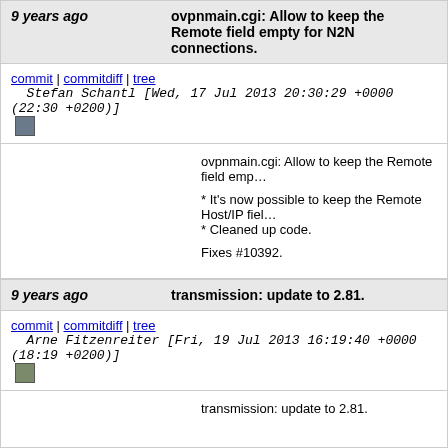9 years ago   ovpnmain.cgi: Allow to keep the Remote field empty for N2N connections.
commit | commitdiff | tree   Stefan Schantl [Wed, 17 Jul 2013 20:30:29 +0000 (22:30 +0200)]
ovpnmain.cgi: Allow to keep the Remote field empty for N2N connections.

* It's now possible to keep the Remote Host/IP field empty for N2N connections.
* Cleaned up code.

Fixes #10392.
9 years ago   transmission: update to 2.81.
commit | commitdiff | tree   Arne Fitzenreiter [Fri, 19 Jul 2013 16:19:40 +0000 (18:19 +0200)]
transmission: update to 2.81.
9 years ago   start core72.
commit | commitdiff | tree   Arne Fitzenreiter [Fri, 19 Jul 2013 08:03:22 +0000 (10:03 +0200)]
start core72.